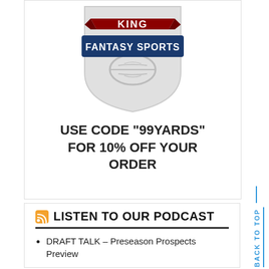[Figure (logo): King Fantasy Sports shield logo with football, dark blue banner with 'FANTASY SPORTS' text, and dark red ribbon with 'KING' text]
USE CODE "99YARDS" FOR 10% OFF YOUR ORDER
LISTEN TO OUR PODCAST
DRAFT TALK – Preseason Prospects Preview